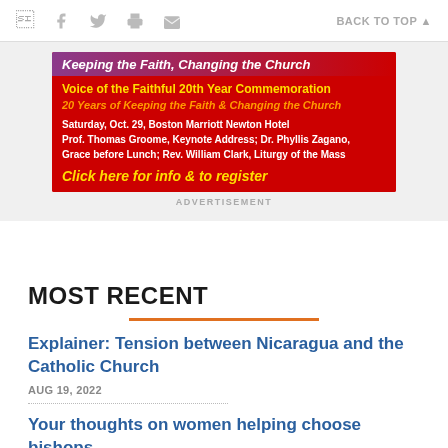Social icons (Facebook, Twitter, Print, Email) | BACK TO TOP
[Figure (infographic): Red advertisement banner for Voice of the Faithful 20th Year Commemoration. Top purple-to-red stripe: 'Keeping the Faith, Changing the Church'. Yellow text: 'Voice of the Faithful 20th Year Commemoration'. Orange italic: '20 Years of Keeping the Faith & Changing the Church'. White bold: 'Saturday, Oct. 29, Boston Marriott Newton Hotel / Prof. Thomas Groome, Keynote Address; Dr. Phyllis Zagano, Grace before Lunch; Rev. William Clark, Liturgy of the Mass'. Yellow CTA: 'Click here for info & to register']
ADVERTISEMENT
MOST RECENT
Explainer: Tension between Nicaragua and the Catholic Church
AUG 19, 2022
Your thoughts on women helping choose bishops